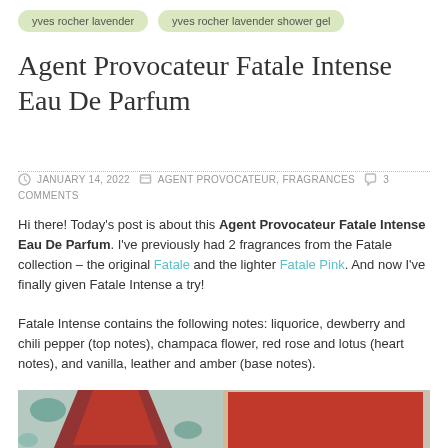yves rocher lavender | yves rocher lavender shower gel
Agent Provocateur Fatale Intense Eau De Parfum
JANUARY 14, 2022  AGENT PROVOCATEUR, FRAGRANCES  3 COMMENTS
Hi there! Today's post is about this Agent Provocateur Fatale Intense Eau De Parfum. I've previously had 2 fragrances from the Fatale collection – the original Fatale and the lighter Fatale Pink. And now I've finally given Fatale Intense a try!
Fatale Intense contains the following notes: liquorice, dewberry and chili pepper (top notes), champaca flower, red rose and lotus (heart notes), and vanilla, leather and amber (base notes).
[Figure (photo): Photo of Agent Provocateur Fatale Intense Eau De Parfum bottle and box, with red gem-shaped bottle on the left and red box on the right, on a floral background.]